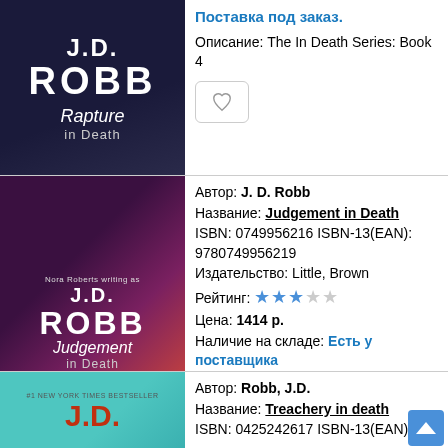[Figure (photo): Book cover: J.D. Robb - Rapture in Death, dark blue/purple background]
Поставка под заказ.
Описание: The In Death Series: Book 4
[Figure (photo): Book cover: J.D. Robb - Judgement in Death, dark purple/red alley scene]
Автор: J. D. Robb
Название: Judgement in Death
ISBN: 0749956216 ISBN-13(EAN): 9780749956219
Издательство: Little, Brown
Рейтинг: ★★★☆☆
Цена: 1414 р.
Наличие на складе: Есть у поставщика Поставка под заказ.
Описание: Lieutenant Eve Dallas weaves through the grisly crime world of the New York of the future in search of truth and justice, as she investigates a private club where your fate depends on your most intimate sins.
[Figure (photo): Book cover: J.D. Robb - Treachery in death, teal/cyan background]
Автор: Robb, J.D.
Название: Treachery in death
ISBN: 0425242617 ISBN-13(EAN):